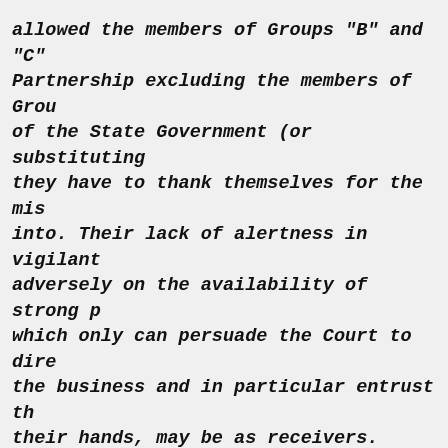allowed the members of Groups "B" and "C" Partnership excluding the members of Group of the State Government (or substituting they have to thank themselves for the mis into. Their lack of alertness in vigilant adversely on the availability of strong p which only can persuade the Court to dire the business and in particular entrust th their hands, may be as receivers.
During the course of hearing, we asked th of either of them could suggest a practic would work and also effectively protect t away from the actual running of the busin came forward. On behalf of Group "A", a s the shops may be allowed to be run by the